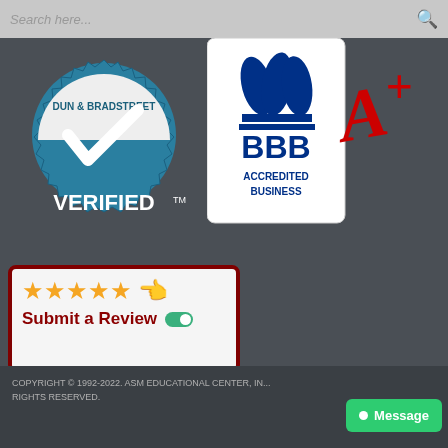Search here...
[Figure (logo): Dun & Bradstreet VERIFIED badge with teal seal and checkmark]
[Figure (logo): BBB Accredited Business logo with A+ grade in red script]
[Figure (infographic): Five gold stars with pointing hand icon and Submit a Review button with toggle]
COPYRIGHT © 1992-2022. ASM EDUCATIONAL CENTER, IN... ALL RIGHTS RESERVED.